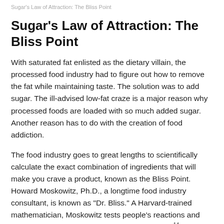Sugar's Law of Attraction: The Bliss Point
Sugar's Law of Attraction: The Bliss Point
With saturated fat enlisted as the dietary villain, the processed food industry had to figure out how to remove the fat while maintaining taste. The solution was to add sugar. The ill-advised low-fat craze is a major reason why processed foods are loaded with so much added sugar. Another reason has to do with the creation of food addiction.
The food industry goes to great lengths to scientifically calculate the exact combination of ingredients that will make you crave a product, known as the Bliss Point. Howard Moskowitz, Ph.D., a longtime food industry consultant, is known as "Dr. Bliss." A Harvard-trained mathematician, Moskowitz tests people's reactions and finds the optimal amount of sugar for a product.14
Moskowitz's path to mastery began when he was hired by the U.S. Army to research how to get soldiers to consume more rations in the field. Over time, soldiers were not consuming adequate rations,